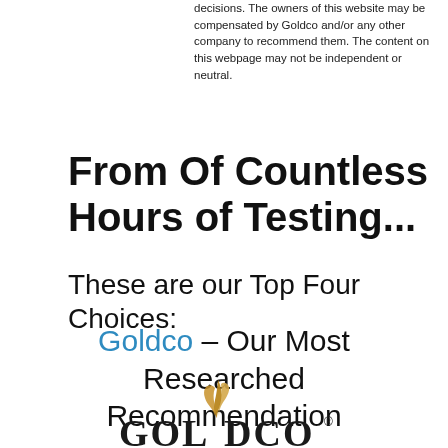decisions. The owners of this website may be compensated by Goldco and/or any other company to recommend them. The content on this webpage may not be independent or neutral.
From Of Countless Hours of Testing...
These are our Top Four Choices:
Goldco – Our Most Researched Recommendation
[Figure (logo): Goldco company logo with golden flame symbol and GOLDCO text in dark serif font with registered trademark symbol]